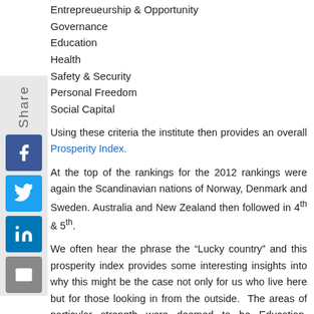Entrepreueurship & Opportunity
Governance
Education
Health
Safety & Security
Personal Freedom
Social Capital
Using these criteria the institute then provides an overall Prosperity Index.
At the top of the rankings for the 2012 rankings were again the Scandinavian nations of Norway, Denmark and Sweden. Australia and New Zealand then followed in 4th & 5th.
We often hear the phrase the “Lucky country” and this prosperity index provides some interesting insights into why this might be the case not only for us who live here but for those looking in from the outside. The areas of particular strength were deemed to be Education, Personal Freedom & Social Capital.
An interesting aspect of this year’s report is the highlighting of the